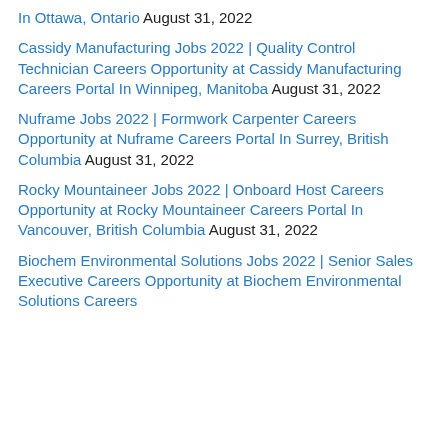In Ottawa, Ontario August 31, 2022
Cassidy Manufacturing Jobs 2022 | Quality Control Technician Careers Opportunity at Cassidy Manufacturing Careers Portal In Winnipeg, Manitoba August 31, 2022
Nuframe Jobs 2022 | Formwork Carpenter Careers Opportunity at Nuframe Careers Portal In Surrey, British Columbia August 31, 2022
Rocky Mountaineer Jobs 2022 | Onboard Host Careers Opportunity at Rocky Mountaineer Careers Portal In Vancouver, British Columbia August 31, 2022
Biochem Environmental Solutions Jobs 2022 | Senior Sales Executive Careers Opportunity at Biochem Environmental Solutions Careers